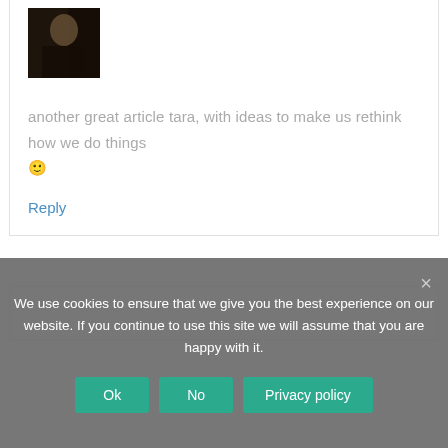[Figure (photo): Small avatar photo of a person, dark background]
another great article tara, with ideas to make us rethink how we do things 🙂
Reply
We use cookies to ensure that we give you the best experience on our website. If you continue to use this site we will assume that you are happy with it.